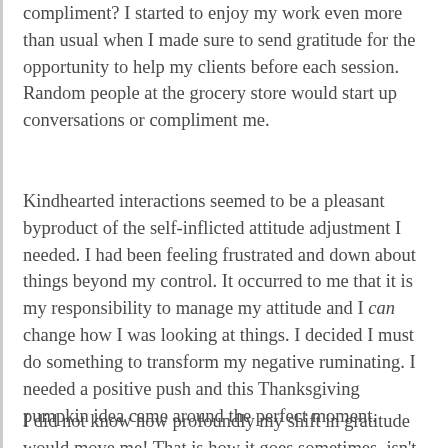compliment? I started to enjoy my work even more than usual when I made sure to send gratitude for the opportunity to help my clients before each session. Random people at the grocery store would start up conversations or compliment me.
Kindhearted interactions seemed to be a pleasant byproduct of the self-inflicted attitude adjustment I needed. I had been feeling frustrated and down about things beyond my control. It occurred to me that it is my responsibility to manage my attitude and I can change how I was looking at things. I decided I must do something to transform my negative ruminating. I needed a positive push and this Thanksgiving pumpkin idea came around the perfect moment.
I did not know how profoundly my shift in gratitude would move me! That is how it goes sometimes, isn't it? One